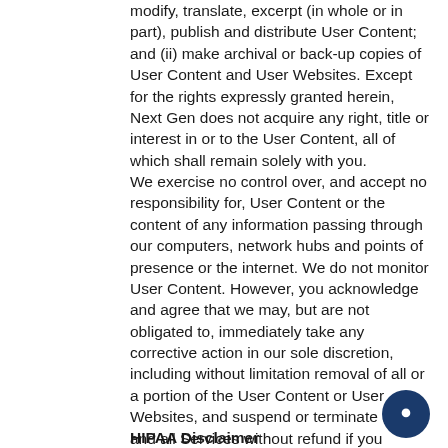modify, translate, excerpt (in whole or in part), publish and distribute User Content; and (ii) make archival or back-up copies of User Content and User Websites. Except for the rights expressly granted herein, Next Gen does not acquire any right, title or interest in or to the User Content, all of which shall remain solely with you. We exercise no control over, and accept no responsibility for, User Content or the content of any information passing through our computers, network hubs and points of presence or the internet. We do not monitor User Content. However, you acknowledge and agree that we may, but are not obligated to, immediately take any corrective action in our sole discretion, including without limitation removal of all or a portion of the User Content or User Websites, and suspend or terminate any and all Services without refund if you violate the terms of this Agreement. You hereby agree that the Next Gen shall have no liability due to any corrective action that we may take.
HIPAA Disclaimer